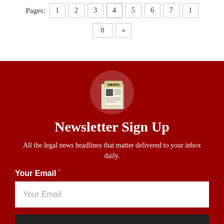Pages: 1 2 3 4 5 6 7 … 8 »
[Figure (illustration): Newspaper icon with 'NEWS' header on a light red circular background]
Newsletter Sign Up
All the legal news headlines that matter delivered to your inbox daily.
Your Email *
Your Email (input placeholder)
SIGN UP